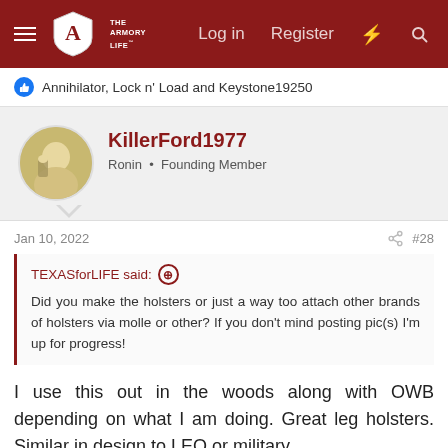The Armory Life — Log in   Register
Annihilator, Lock n' Load and Keystone19250
KillerFord1977
Ronin • Founding Member
Jan 10, 2022   #28
TEXASforLIFE said: Did you make the holsters or just a way too attach other brands of holsters via molle or other? If you don't mind posting pic(s) I'm up for progress!
I use this out in the woods along with OWB depending on what I am doing. Great leg holsters. Similar in design to LEO or military